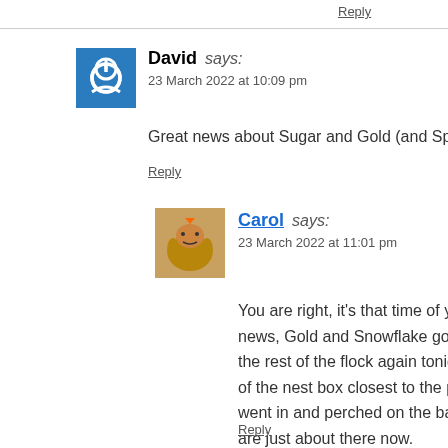Reply
David says:
23 March 2022 at 10:09 pm
Great news about Sugar and Gold (and Spot) will not b
Reply
Carol says:
23 March 2022 at 11:01 pm
You are right, it's that time of year and they w
news, Gold and Snowflake got themselves in a
the rest of the flock again tonight so they are s
of the nest box closest to the pop hole. I put he
went in and perched on the back perch too for
are just about there now.
Reply